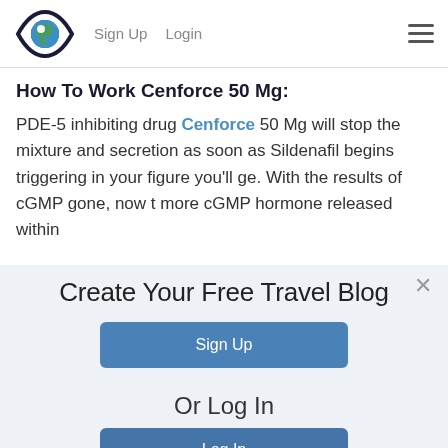Sign Up   Login
How To Work Cenforce 50 Mg:
PDE-5 inhibiting drug Cenforce 50 Mg will stop the mixture and secretion as soon as Sildenafil begins triggering in your figure you'll ge. With the results of cGMP gone, now t more cGMP hormone released within
Create Your Free Travel Blog
Sign Up
Or Log In
Log In